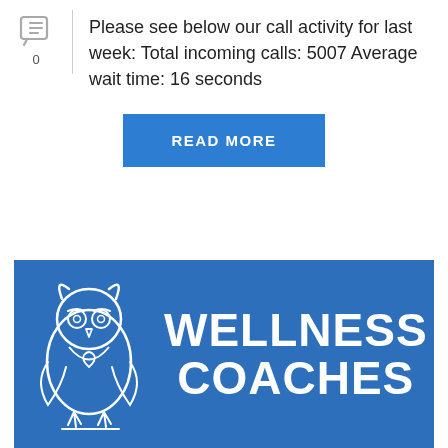[Figure (illustration): Chat/comment icon with count 0, shown in a left sidebar column]
Please see below our call activity for last week: Total incoming calls: 5007 Average wait time: 16 seconds
READ MORE
[Figure (logo): Wellness Coaches banner with blue background, white owl logo outline on the left, and bold white text reading WELLNESS COACHES on the right]